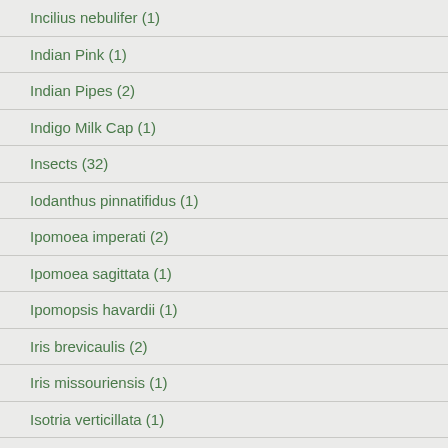Incilius nebulifer (1)
Indian Pink (1)
Indian Pipes (2)
Indigo Milk Cap (1)
Insects (32)
Iodanthus pinnatifidus (1)
Ipomoea imperati (2)
Ipomoea sagittata (1)
Ipomopsis havardii (1)
Iris brevicaulis (2)
Iris missouriensis (1)
Isotria verticillata (1)
James's Penstemon (1)
Jatropha cathartica (2)
Jewel Beetle (1)